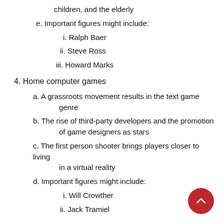children, and the elderly
e. Important figures might include:
i. Ralph Baer
ii. Steve Ross
iii. Howard Marks
4. Home computer games
a. A grassroots movement results in the text game genre
b. The rise of third-party developers and the promotion of game designers as stars
c. The first person shooter brings players closer to living in a virtual reality
d. Important figures might include:
i. Will Crowther
ii. Jack Tramiel